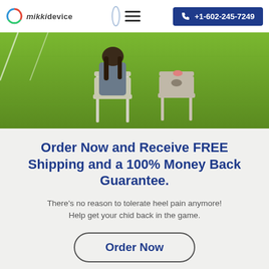mikkidevice | +1-602-245-7249
[Figure (photo): Woman sitting on a plastic chair on a grass field, seen from behind, another empty plastic chair beside her.]
Order Now and Receive FREE Shipping and a 100% Money Back Guarantee.
There's no reason to tolerate heel pain anymore!
Help get your chid back in the game.
Order Now